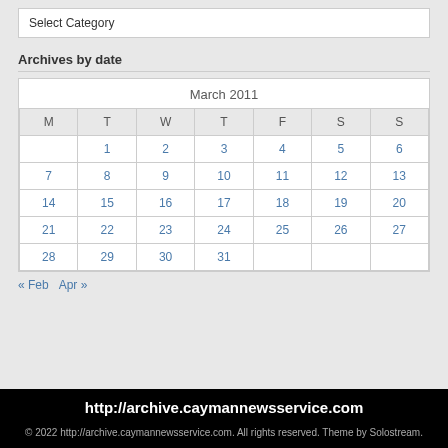Select Category
Archives by date
| M | T | W | T | F | S | S |
| --- | --- | --- | --- | --- | --- | --- |
|  | 1 | 2 | 3 | 4 | 5 | 6 |
| 7 | 8 | 9 | 10 | 11 | 12 | 13 |
| 14 | 15 | 16 | 17 | 18 | 19 | 20 |
| 21 | 22 | 23 | 24 | 25 | 26 | 27 |
| 28 | 29 | 30 | 31 |  |  |  |
« Feb   Apr »
http://archive.caymannewsservice.com
© 2022 http://archive.caymannewsservice.com. All rights reserved. Theme by Solostream.